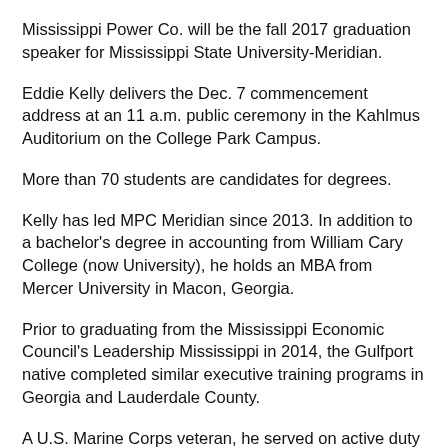Mississippi Power Co. will be the fall 2017 graduation speaker for Mississippi State University-Meridian.
Eddie Kelly delivers the Dec. 7 commencement address at an 11 a.m. public ceremony in the Kahlmus Auditorium on the College Park Campus.
More than 70 students are candidates for degrees.
Kelly has led MPC Meridian since 2013. In addition to a bachelor's degree in accounting from William Cary College (now University), he holds an MBA from Mercer University in Macon, Georgia.
Prior to graduating from the Mississippi Economic Council's Leadership Mississippi in 2014, the Gulfport native completed similar executive training programs in Georgia and Lauderdale County.
A U.S. Marine Corps veteran, he served on active duty in